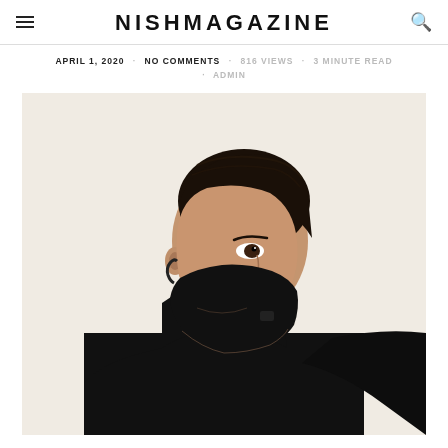NISHMAGAZINE
APRIL 1, 2020 · NO COMMENTS · 816 VIEWS · 3 MINUTE READ · ADMIN
[Figure (photo): Woman with dark slicked-back hair wearing a black face mask and black turtleneck, photographed from the side against a light beige background.]